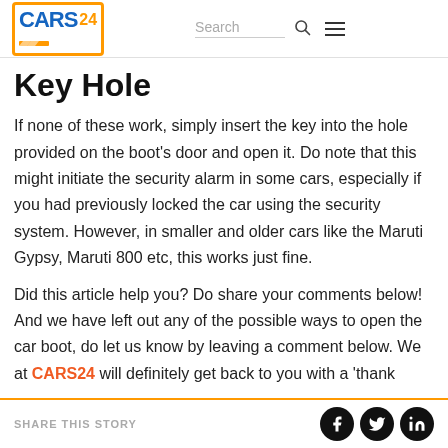CARS24 | Search
Key Hole
If none of these work, simply insert the key into the hole provided on the boot's door and open it. Do note that this might initiate the security alarm in some cars, especially if you had previously locked the car using the security system. However, in smaller and older cars like the Maruti Gypsy, Maruti 800 etc, this works just fine.
Did this article help you? Do share your comments below! And we have left out any of the possible ways to open the car boot, do let us know by leaving a comment below. We at CARS24 will definitely get back to you with a 'thank
SHARE THIS STORY